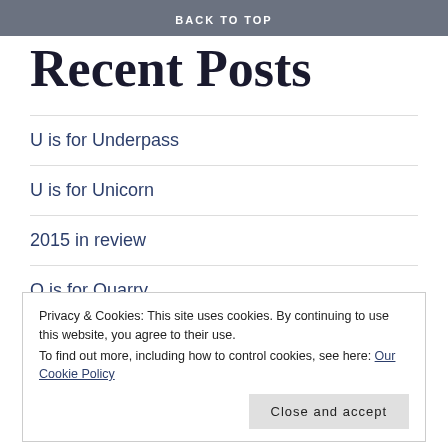BACK TO TOP
Recent Posts
U is for Underpass
U is for Unicorn
2015 in review
Q is for Quarry
Privacy & Cookies: This site uses cookies. By continuing to use this website, you agree to their use.
To find out more, including how to control cookies, see here: Our Cookie Policy